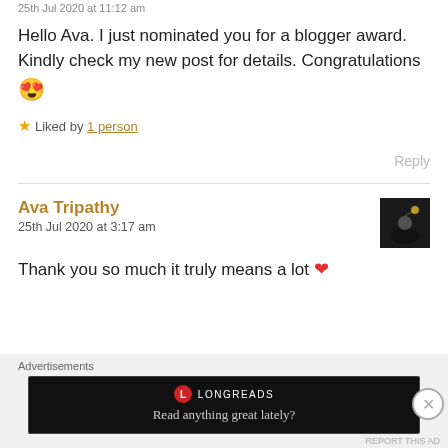25th Jul 2020 at 11:12 am
Hello Ava. I just nominated you for a blogger award. Kindly check my new post for details. Congratulations 😍
Liked by 1 person
Reply
Ava Tripathy
25th Jul 2020 at 3:17 am
Thank you so much it truly means a lot ❤
Advertisements
Read anything great lately?